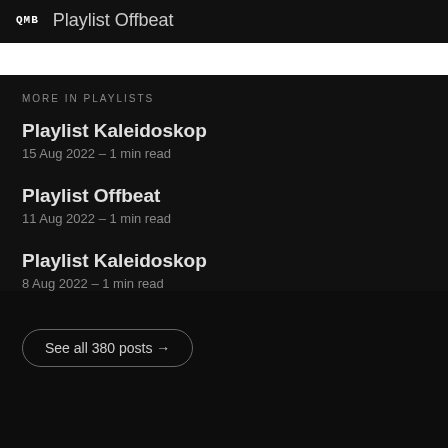QMB Playlist Offbeat
MORE IN PLAYLISTS
Playlist Kaleidoskop
15 Aug 2022 – 1 min read
Playlist Offbeat
11 Aug 2022 – 1 min read
Playlist Kaleidoskop
8 Aug 2022 – 1 min read
See all 380 posts →